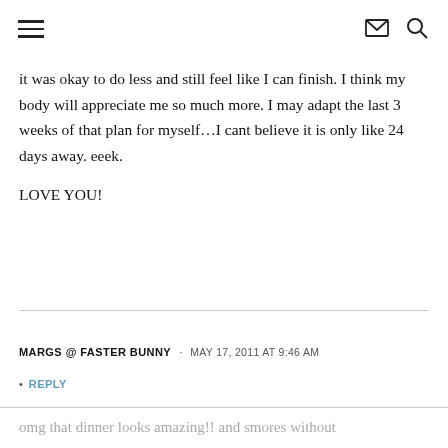≡  ✉ 🔍
it was okay to do less and still feel like I can finish. I think my body will appreciate me so much more. I may adapt the last 3 weeks of that plan for myself…I cant believe it is only like 24 days away. eeek.

LOVE YOU!
MARGS @ FASTER BUNNY · MAY 17, 2011 AT 9:46 AM
• REPLY
omg that dinner looks amazing!! and smores without